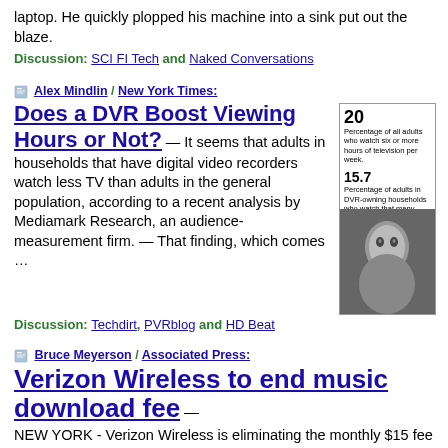laptop.  He quickly plopped his machine into a sink put out the blaze.
Discussion:  SCI FI Tech and Naked Conversations
Alex Mindlin / New York Times:
Does a DVR Boost Viewing Hours or Not?
— It seems that adults in households that have digital video recorders watch less TV than adults in the general population, according to a recent analysis by Mediamark Research, an audience-measurement firm.  — That finding, which comes …
[Figure (photo): Thumbnail image from New York Times article with statistics about DVR viewing: '20 Percentage of all adults who watch six or more hours of television per week.' and '15.7 Percentage of adults in DVR-owning houses holds who watch that many hours.' with a black and white photo of a person.]
Discussion:  Techdirt, PVRblog and HD Beat
Bruce Meyerson / Associated Press:
Verizon Wireless to end music download fee
— NEW YORK - Verizon Wireless is eliminating the monthly $15 fee for its music download service in conjunction with the launch of a cell phone …